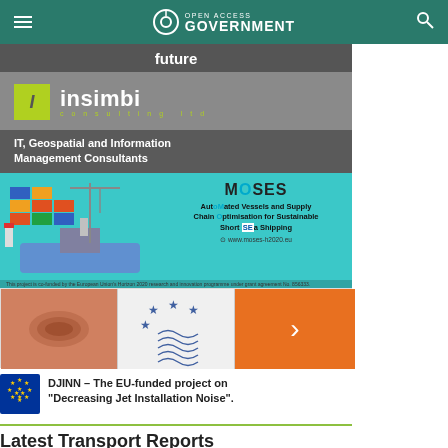Open Access Government
[Figure (photo): Hero image strip with the word 'future' in white bold text on dark background]
[Figure (illustration): Insimbi Consulting Ltd advertisement - IT, Geospatial and Information Management Consultants]
[Figure (illustration): MOSES project ad - AutoMated Vessels and Supply Chain Optimisation for Sustainable Short SEa Shipping - www.moses-h2020.eu]
[Figure (illustration): DJINN project banner with 3 panels - jet installation image, EU-style star/wave logo, and orange arrow]
DJINN – The EU-funded project on "Decreasing Jet Installation Noise".
Latest Transport Reports